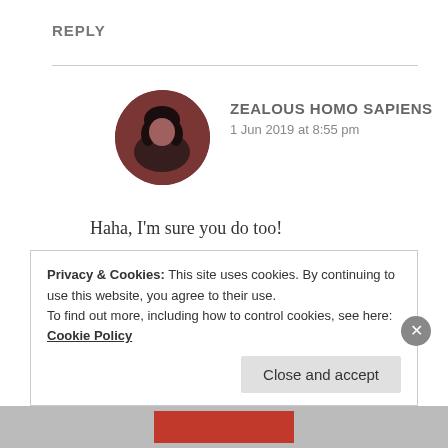REPLY
[Figure (illustration): Circular avatar photo of a person with dark hair against a reddish-brown background]
ZEALOUS HOMO SAPIENS
1 Jun 2019 at 8:55 pm
Haha, I'm sure you do too!
Thank you so much, Sonia!❤
★ Liked by 1 person
Privacy & Cookies: This site uses cookies. By continuing to use this website, you agree to their use.
To find out more, including how to control cookies, see here: Cookie Policy
Close and accept